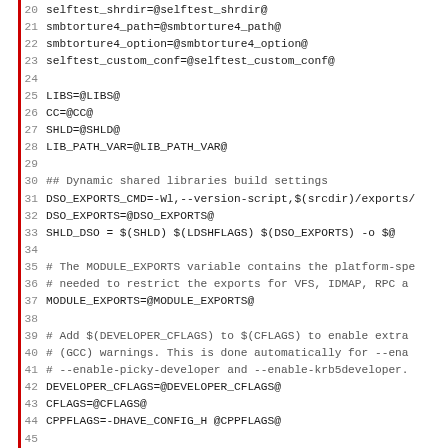Code listing lines 20-51 of a Makefile/build configuration script
20  selftest_shrdir=@selftest_shrdir@
21  smbtorture4_path=@smbtorture4_path@
22  smbtorture4_option=@smbtorture4_option@
23  selftest_custom_conf=@selftest_custom_conf@
24  (blank)
25  LIBS=@LIBS@
26  CC=@CC@
27  SHLD=@SHLD@
28  LIB_PATH_VAR=@LIB_PATH_VAR@
29  (blank)
30  ## Dynamic shared libraries build settings
31  DSO_EXPORTS_CMD=-Wl,--version-script,$(srcdir)/exports/
32  DSO_EXPORTS=@DSO_EXPORTS@
33  SHLD_DSO = $(SHLD) $(LDSHFLAGS) $(DSO_EXPORTS) -o $@
34  (blank)
35  # The MODULE_EXPORTS variable contains the platform-spe
36  # needed to restrict the exports for VFS, IDMAP, RPC a
37  MODULE_EXPORTS=@MODULE_EXPORTS@
38  (blank)
39  # Add $(DEVELOPER_CFLAGS) to $(CFLAGS) to enable extra
40  # (GCC) warnings. This is done automatically for --ena
41  # --enable-picky-developer and --enable-krb5developer.
42  DEVELOPER_CFLAGS=@DEVELOPER_CFLAGS@
43  CFLAGS=@CFLAGS@
44  CPPFLAGS=-DHAVE_CONFIG_H @CPPFLAGS@
45  (blank)
46  EXEEXT=@EXEEXT@
47  AR=@AR@
48  LDSHFLAGS=@LDSHFLAGS@ @RELRO_LDFLAGS@ @LDFLAGS@ -lc @LD
49  LDSHFLAGS_MODULES=@LDSHFLAGS@ @RELRO_LDFLAGS@ @LDFLAGS@
50  LDFLAGS=@PIE_LDFLAGS@ @RELRO_LDFLAGS@ @LDFLAGS@
51  (blank)